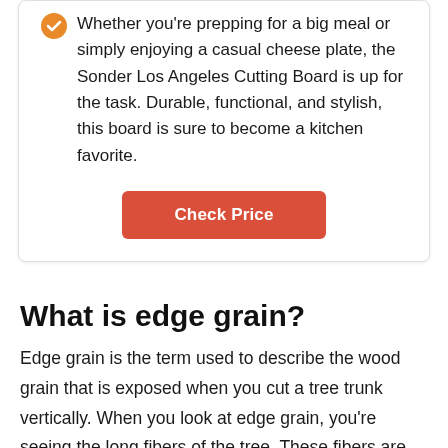Whether you're prepping for a big meal or simply enjoying a casual cheese plate, the Sonder Los Angeles Cutting Board is up for the task. Durable, functional, and stylish, this board is sure to become a kitchen favorite.
[Figure (other): Orange rounded rectangle button labeled 'Check Price' in white bold text]
What is edge grain?
Edge grain is the term used to describe the wood grain that is exposed when you cut a tree trunk vertically. When you look at edge grain, you're seeing the long fibers of the tree. These fibers are held